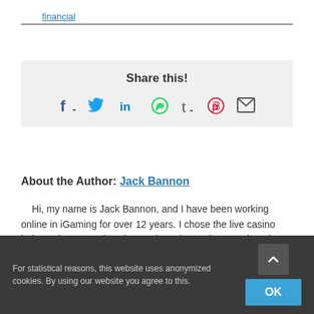financial
[Figure (infographic): Share this! social media icons: Facebook, Twitter, LinkedIn, WhatsApp, Tumblr, Pinterest, Email]
About the Author: Jack Bannon
Hi, my name is Jack Bannon, and I have been working online in iGaming for over 12 years. I chose the live casino industry because I love innovation, I have always enjoyed playing in land-based casinos, and I appreciate
For statistical reasons, this website uses anonymized cookies. By using our website you agree to this.